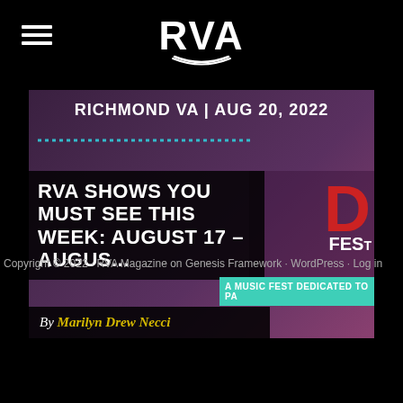RVA Magazine logo and navigation menu
[Figure (screenshot): RVA Magazine website screenshot showing an article card with the headline 'RVA SHOWS YOU MUST SEE THIS WEEK: AUGUST 17 – AUGUS...' by Marilyn Drew Necci, overlaying a concert/festival promotional image with text 'RICHMOND VA | AUG 20, 2022' and 'A MUSIC FEST DEDICATED TO PA']
Copyright © 2022 · RVA Magazine on Genesis Framework · WordPress · Log in